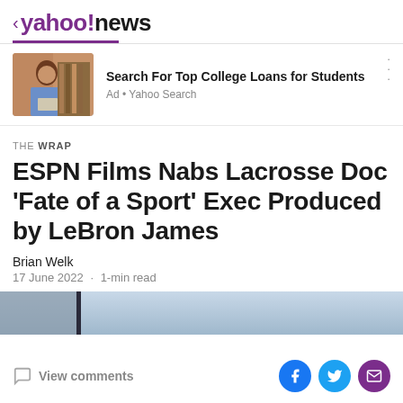< yahoo!news
[Figure (screenshot): Yahoo News advertisement for college loans showing a woman studying with a laptop]
Search For Top College Loans for Students
Ad • Yahoo Search
THE WRAP
ESPN Films Nabs Lacrosse Doc 'Fate of a Sport' Exec Produced by LeBron James
Brian Welk
17 June 2022 · 1-min read
[Figure (photo): Article header image strip showing a partial outdoor/sky scene]
View comments